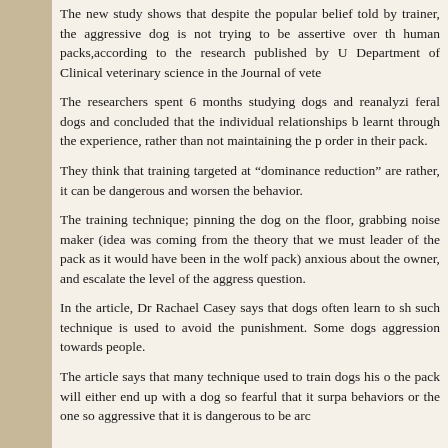The new study shows that despite the popular belief told by trainer, the aggressive dog is not trying to be assertive over the human packs,according to the research published by U Department of Clinical veterinary science in the Journal of vete
The researchers spent 6 months studying dogs and reanalyzi feral dogs and concluded that the individual relationships b learnt through the experience, rather than not maintaining the p order in their pack.
They think that training targeted at “dominance reduction” are rather, it can be dangerous and worsen the behavior.
The training technique; pinning the dog on the floor, grabbing noise maker (idea was coming from the theory that we must leader of the pack as it would have been in the wolf pack) anxious about the owner, and escalate the level of the aggress question.
In the article, Dr Rachael Casey says that dogs often learn to sh such technique is used to avoid the punishment. Some dogs aggression towards people.
The article says that many technique used to train dogs his o the pack will either end up with a dog so fearful that it surpa behaviors or the one so aggressive that it is dangerous to be arc